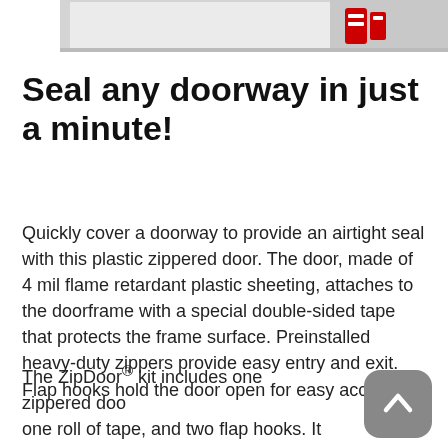[Figure (photo): Partial product photo at top of page showing a plastic zippered door product with red zipper elements on grey/white background]
Seal any doorway in just a minute!
Quickly cover a doorway to provide an airtight seal with this plastic zippered door. The door, made of 4 mil flame retardant plastic sheeting, attaches to the doorframe with a special double-sided tape that protects the frame surface. Preinstalled heavy-duty zippers provide easy entry and exit. Flap hooks hold the door open for easy access.
The ZipDoor® kit includes one zippered door, one roll of tape, and two flap hooks. It fits a commercial door up to 4.5′ x 8′.